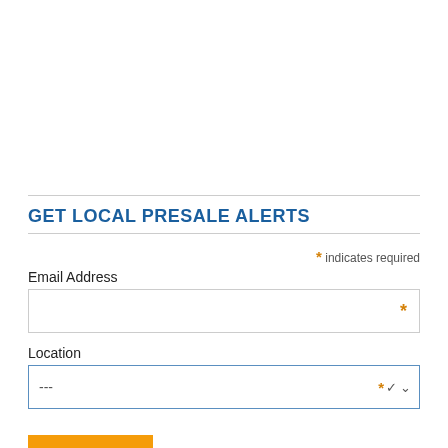GET LOCAL PRESALE ALERTS
* indicates required
Email Address
Location
Subscribe